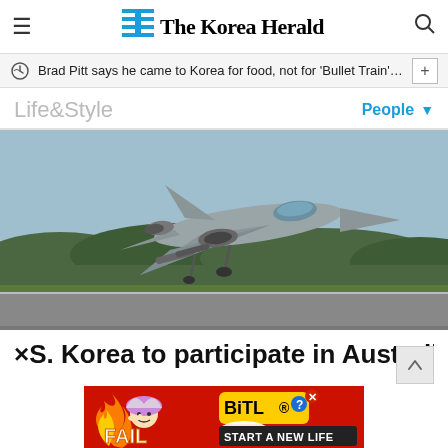The Korea Herald
Brad Pitt says he came to Korea for food, not for 'Bullet Train' pr···
Life&Style
People
[Figure (photo): F-16 fighter jet taking off from a runway, green trees and overcast sky in background]
×S. Korea to participate in Australia-le
[Figure (advertisement): BitLife game advertisement with red background, cartoon character, flames, and 'START A NEW LIFE' text]